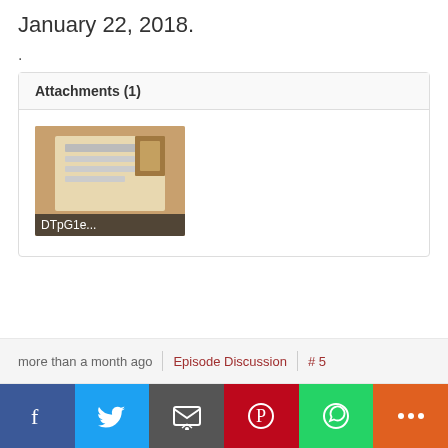January 22, 2018.
.
Attachments (1)
[Figure (photo): Thumbnail image of an attachment labeled DTpG1e...]
more than a month ago
Episode Discussion
# 5
Lilah_Kane
f  Twitter  Email  Pinterest  WhatsApp  +